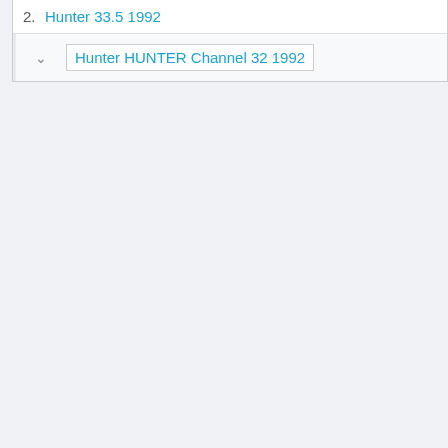2. Hunter 33.5 1992
Hunter HUNTER Channel 32 1992